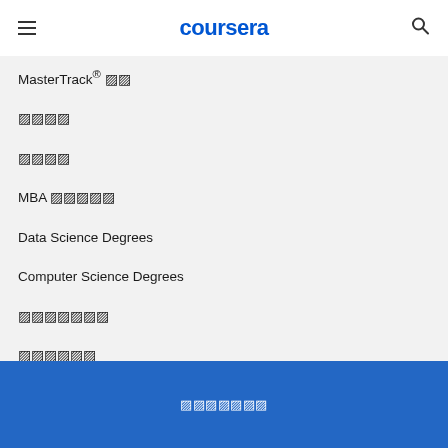coursera
MasterTrack® 증명
학위 과정
대학 과정
MBA 전문학위
Data Science Degrees
Computer Science Degrees
학습자를위한
캠퍼스
기업용
정부
대학교
로그인